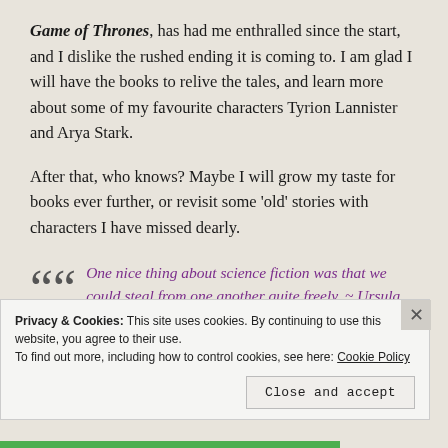Game of Thrones, has had me enthralled since the start, and I dislike the rushed ending it is coming to. I am glad I will have the books to relive the tales, and learn more about some of my favourite characters Tyrion Lannister and Arya Stark.
After that, who knows? Maybe I will grow my taste for books ever further, or revisit some 'old' stories with characters I have missed dearly.
One nice thing about science fiction was that we could steal from one another quite freely. ~ Ursula K. Le Guin
Privacy & Cookies: This site uses cookies. By continuing to use this website, you agree to their use. To find out more, including how to control cookies, see here: Cookie Policy
Close and accept